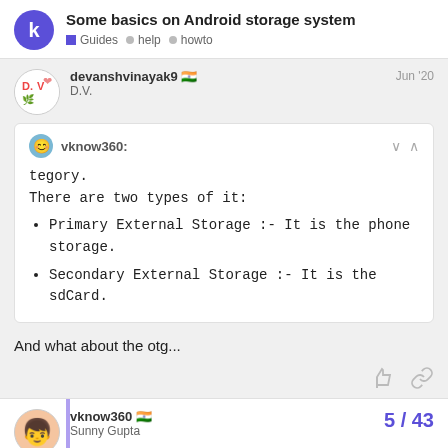Some basics on Android storage system | Guides • help • howto
devanshvinayak9 🇮🇳 D.V. Jun '20
vknow360: tegory.
There are two types of it:
• Primary External Storage :- It is the phone storage.
• Secondary External Storage :- It is the sdCard.
And what about the otg...
vknow360 🇮🇳 Sunny Gupta  5 / 43